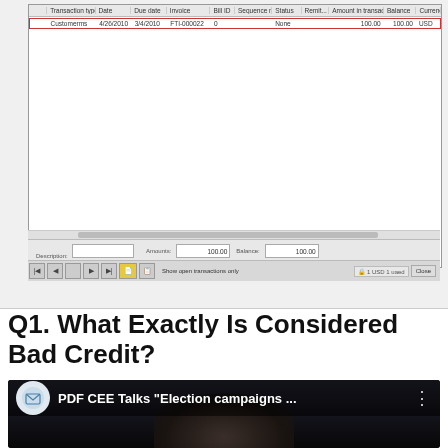[Figure (screenshot): Software UI screenshot showing a transaction table with one selected row (highlighted in red border): Customerms, 4/26/2010, 3/4/2010, FTI-000022, 0, None, 100.00, 100.00, USD. Bottom shows Description, Amount (100.00), Balance (100.00) fields, navigation controls, and Close button.]
Q1. What Exactly Is Considered Bad Credit?
[Figure (screenshot): YouTube video thumbnail showing PDF CEE Talks Election campaigns... with a person's face in dark background and a logo icon.]